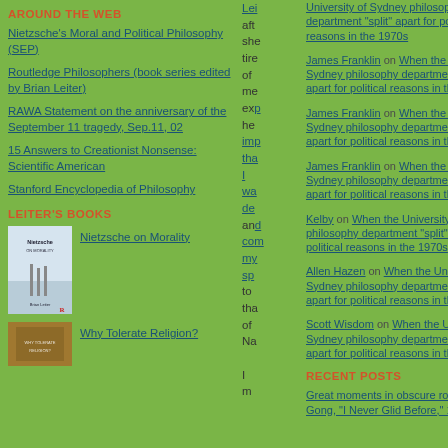AROUND THE WEB
Nietzsche's Moral and Political Philosophy (SEP)
Routledge Philosophers (book series edited by Brian Leiter)
RAWA Statement on the anniversary of the September 11 tragedy, Sep.11, 02
15 Answers to Creationist Nonsense: Scientific American
Stanford Encyclopedia of Philosophy
LEITER'S BOOKS
[Figure (photo): Book cover: Nietzsche on Morality by Brian Leiter]
Nietzsche on Morality
[Figure (photo): Book cover: Why Tolerate Religion?]
Why Tolerate Religion?
Lei aft she tire of me exp he imp tha I wa de and com my sp to tha of Na I m
James Franklin on When the University of Sydney philosophy department "split" apart for political reasons in the 1970s
James Franklin on When the University of Sydney philosophy department "split" apart for political reasons in the 1970s
James Franklin on When the University of Sydney philosophy department "split" apart for political reasons in the 1970s
Kelby on When the University of Sydney philosophy department "split" apart for political reasons in the 1970s
Allen Hazen on When the University of Sydney philosophy department "split" apart for political reasons in the 1970s
Scott Wisdom on When the University of Sydney philosophy department "split" apart for political reasons in the 1970s
RECENT POSTS
Great moments in obscure rock 'n' roll: Gong, "I Never Glid Before," 1973